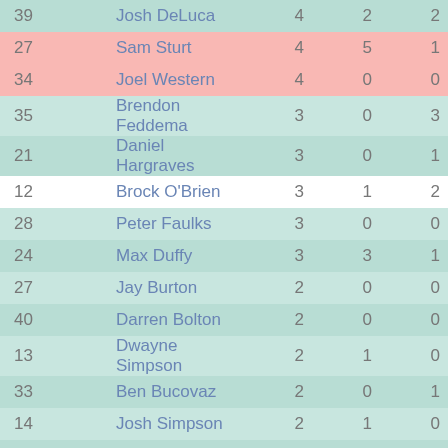| # | Name |  |  |  |
| --- | --- | --- | --- | --- |
| 39 | Josh DeLuca | 4 | 2 | 2 |
| 27 | Sam Sturt | 4 | 5 | 1 |
| 34 | Joel Western | 4 | 0 | 0 |
| 35 | Brendon Feddema | 3 | 0 | 3 |
| 21 | Daniel Hargraves | 3 | 0 | 1 |
| 12 | Brock O'Brien | 3 | 1 | 2 |
| 28 | Peter Faulks | 3 | 0 | 0 |
| 24 | Max Duffy | 3 | 3 | 1 |
| 27 | Jay Burton | 2 | 0 | 0 |
| 40 | Darren Bolton | 2 | 0 | 0 |
| 13 | Dwayne Simpson | 2 | 1 | 0 |
| 33 | Ben Bucovaz | 2 | 0 | 1 |
| 14 | Josh Simpson | 2 | 1 | 0 |
| 13 | Harley Bennell | 2 | 3 | 1 |
| 35 | Jason Carter | 2 | 0 | 0 |
| 22 | Travis Edmonds | 1 | 0 | 0 |